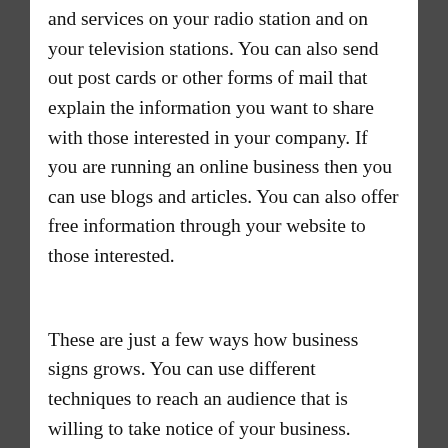and services on your radio station and on your television stations. You can also send out post cards or other forms of mail that explain the information you want to share with those interested in your company. If you are running an online business then you can use blogs and articles. You can also offer free information through your website to those interested.
These are just a few ways how business signs grows. You can use different techniques to reach an audience that is willing to take notice of your business.
BUSINESS/MARKETING
Several different options for